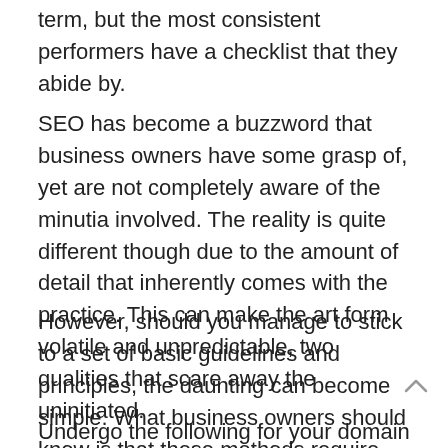term, but the most consistent performers have a checklist that they abide by.
SEO has become a buzzword that business owners have some grasp of, yet are not completely aware of the minutia involved. The reality is quite different though due to the amount of detail that inherently comes with the practice. This can make the art form volatile and unpredictable, two qualities that scare away the uninitiated.
However, should you manage to stick to a set of basic guidelines and principles, the daunting can become simple. What business owners should know is that these methods require diligence and a degree of repetition.
Undergo the following for your domain and see that